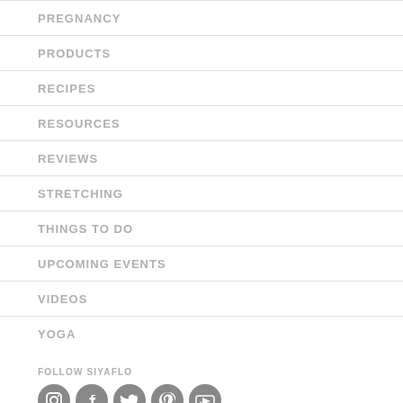PREGNANCY
PRODUCTS
RECIPES
RESOURCES
REVIEWS
STRETCHING
THINGS TO DO
UPCOMING EVENTS
VIDEOS
YOGA
FOLLOW SIYAFLO
[Figure (illustration): Row of 5 social media icons: Instagram, Facebook, Twitter, Pinterest, YouTube — all dark grey circular icons]